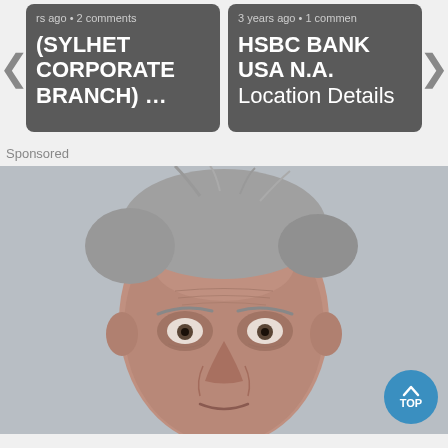[Figure (screenshot): Navigation card showing '(SYLHET CORPORATE BRANCH) ...' with metadata 'rs ago • 2 comments' on dark grey background]
[Figure (screenshot): Navigation card showing 'HSBC BANK USA N.A. Location Details' with metadata '3 years ago • 1 comment' on dark grey background]
Sponsored
[Figure (photo): Close-up portrait of an elderly man with grey disheveled hair and deeply wrinkled face, muted grey-blue background, desaturated photo style]
TOP